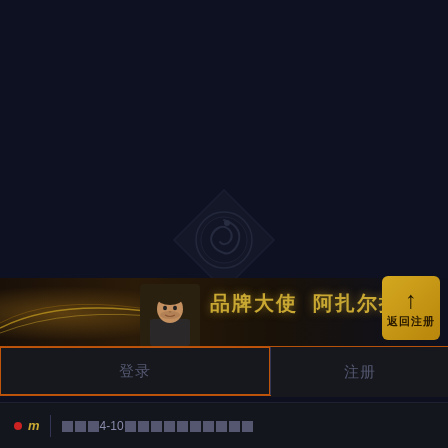[Figure (logo): Dark diamond-shaped watermark logo with dragon/phoenix emblem in center, low opacity overlay on dark background]
[Figure (illustration): Banner strip with golden glow swoosh on left, person in suit portrait, golden Chinese text '品牌大使 阿扎尔推荐' (Brand Ambassador Hazard Recommends), and golden return/register button on right]
登录
注册
m  ████4-10██████████